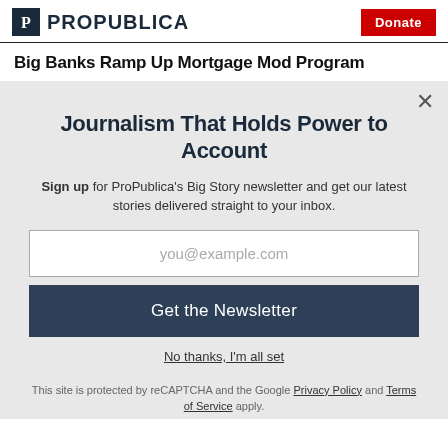ProPublica | Donate
Big Banks Ramp Up Mortgage Mod Program
Journalism That Holds Power to Account
Sign up for ProPublica's Big Story newsletter and get our latest stories delivered straight to your inbox.
you@example.com
Get the Newsletter
No thanks, I'm all set
This site is protected by reCAPTCHA and the Google Privacy Policy and Terms of Service apply.